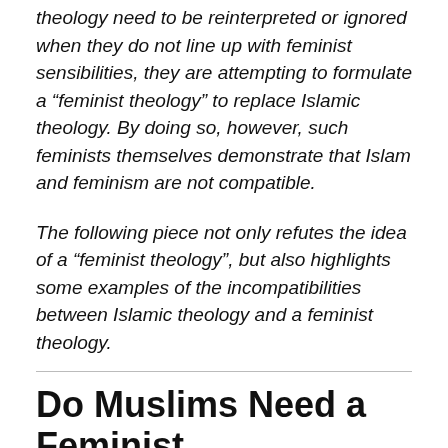theology need to be reinterpreted or ignored when they do not line up with feminist sensibilities, they are attempting to formulate a “feminist theology” to replace Islamic theology. By doing so, however, such feminists themselves demonstrate that Islam and feminism are not compatible.
The following piece not only refutes the idea of a “feminist theology”, but also highlights some examples of the incompatibilities between Islamic theology and a feminist theology.
Do Muslims Need a Feminist Theology?
Zara Faria